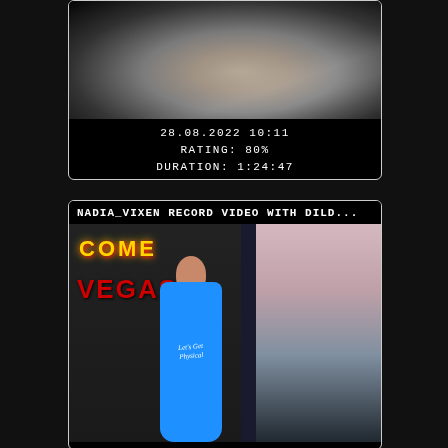[Figure (screenshot): Video thumbnail showing a dark close-up image with overlay text showing date 28.08.2022 10:11, rating 80%, and duration 1:24:47]
28.08.2022 10:11
RATING: 80%
DURATION: 1:24:47
[Figure (screenshot): Video listing card titled NADIA_VIXEN RECORD VIDEO WITH DILD... showing a woman in a blue swimsuit in front of a Las Vegas welcome sign backdrop]
NADIA_VIXEN RECORD VIDEO WITH DILD...